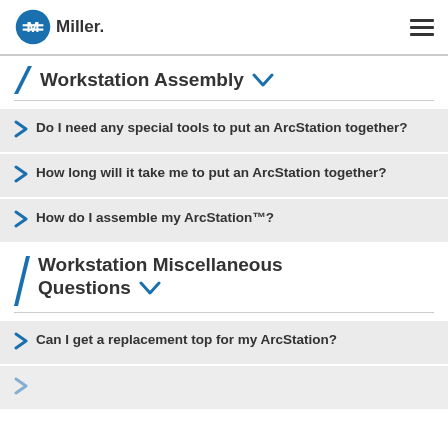Miller
Workstation Assembly
Do I need any special tools to put an ArcStation together?
How long will it take me to put an ArcStation together?
How do I assemble my ArcStation™?
Workstation Miscellaneous Questions
Can I get a replacement top for my ArcStation?